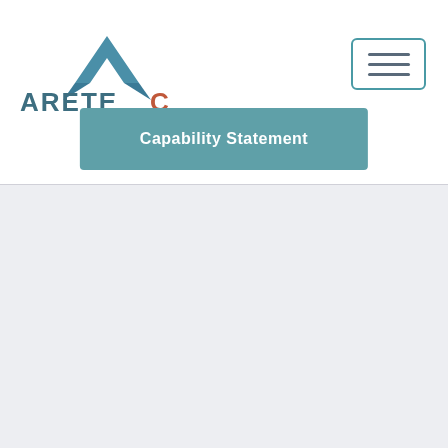[Figure (logo): Aretec company logo with blue mountain/chevron icon above the text ARETEC in blue and orange-red letters]
[Figure (other): Navigation hamburger menu button — three horizontal lines inside a rounded rectangle with teal border]
Capability Statement
[Figure (other): Light gray background section below the navigation bar]